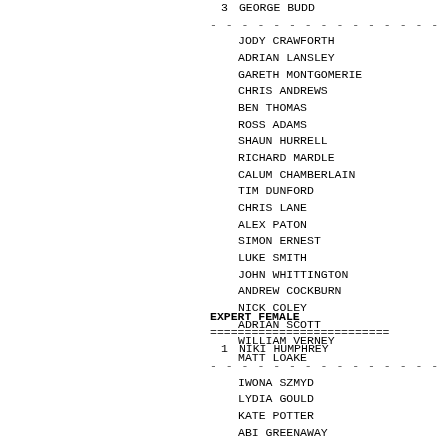3  GEORGE BUDD
JODY CRAWFORTH
ADRIAN LANSLEY
GARETH MONTGOMERIE
CHRIS ANDREWS
BEN THOMAS
ROSS ADAMS
SHAUN HURRELL
RICHARD MARDLE
CALUM CHAMBERLAIN
TIM DUNFORD
CHRIS LANE
ALEX PATON
SIMON ERNEST
LUKE SMITH
JOHN WHITTINGTON
ANDREW COCKBURN
NICK COLEY
ADRIAN SCOTT
WILLIAM VERNEY
MATT LOAKE
EXPERT FEMALE
1  NIKI HUMPHREY
IWONA SZMYD
LYDIA GOULD
KATE POTTER
ABI GREENAWAY